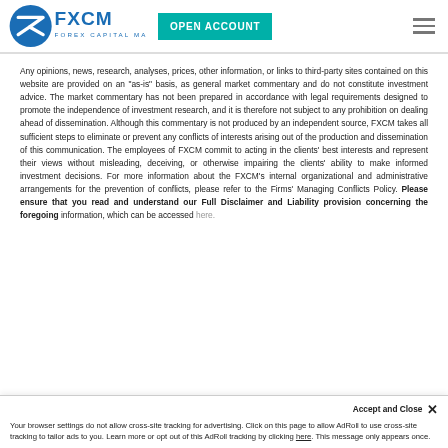FXCM Forex Capital Markets — OPEN ACCOUNT
Any opinions, news, research, analyses, prices, other information, or links to third-party sites contained on this website are provided on an "as-is" basis, as general market commentary and do not constitute investment advice. The market commentary has not been prepared in accordance with legal requirements designed to promote the independence of investment research, and it is therefore not subject to any prohibition on dealing ahead of dissemination. Although this commentary is not produced by an independent source, FXCM takes all sufficient steps to eliminate or prevent any conflicts of interests arising out of the production and dissemination of this communication. The employees of FXCM commit to acting in the clients' best interests and represent their views without misleading, deceiving, or otherwise impairing the clients' ability to make informed investment decisions. For more information about the FXCM's internal organizational and administrative arrangements for the prevention of conflicts, please refer to the Firms' Managing Conflicts Policy. Please ensure that you read and understand our Full Disclaimer and Liability provision concerning the foregoing information, which can be accessed here.
Your browser settings do not allow cross-site tracking for advertising. Click on this page to allow AdRoll to use cross-site tracking to tailor ads to you. Learn more or opt out of this AdRoll tracking by clicking here. This message only appears once.